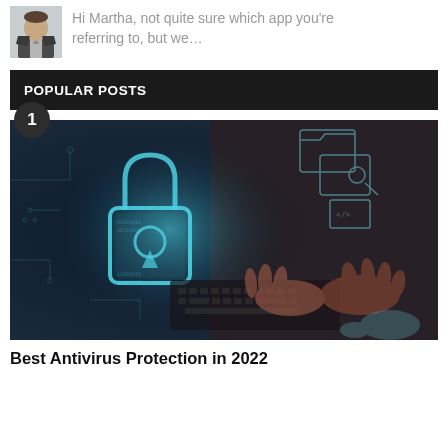Hi Martha, not quite sure which app you're referring to, but we…
POPULAR POSTS
[Figure (photo): Cybersecurity themed photo: glowing digital padlock overlaid on a person typing on a laptop, with circuit board patterns and digital icons in the background. Dark blue/teal tones.]
Best Antivirus Protection in 2022